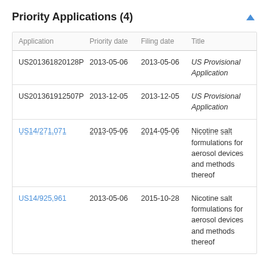Priority Applications (4)
| Application | Priority date | Filing date | Title |
| --- | --- | --- | --- |
| US201361820128P | 2013-05-06 | 2013-05-06 | US Provisional Application |
| US201361912507P | 2013-12-05 | 2013-12-05 | US Provisional Application |
| US14/271,071 | 2013-05-06 | 2014-05-06 | Nicotine salt formulations for aerosol devices and methods thereof |
| US14/925,961 | 2013-05-06 | 2015-10-28 | Nicotine salt formulations for aerosol devices and methods thereof |